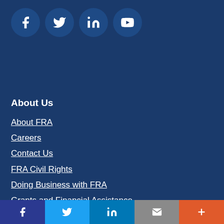[Figure (illustration): Four circular social media icons: Facebook, Twitter, LinkedIn, YouTube]
About Us
About FRA
Careers
Contact Us
FRA Civil Rights
Doing Business with FRA
Grants and Financial Assistance
Safety Management Teams
Social share bar: Facebook, Twitter, LinkedIn, Email, More